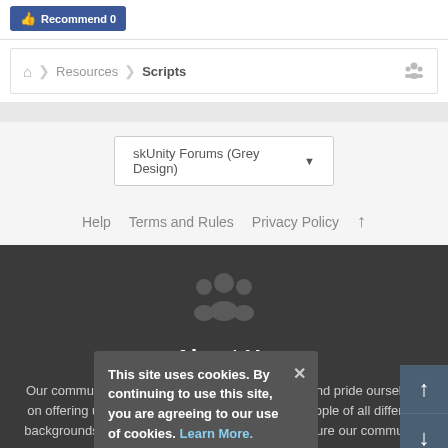[Figure (screenshot): Facebook Recommend button (blue)]
Resources > Scripts
skUnity Forums (Grey Design)
Help   Terms and Rules   Privacy Policy   ↑
[Figure (illustration): Community/group of people icon in grey]
About Us
Our community has been around for many years and pride ourselves on offering unbiased, critical discussion among people of all different backgrounds. We are working every day to make sure our community is one of the best.
This site uses cookies. By continuing to use this site, you are agreeing to our use of cookies. Learn More.